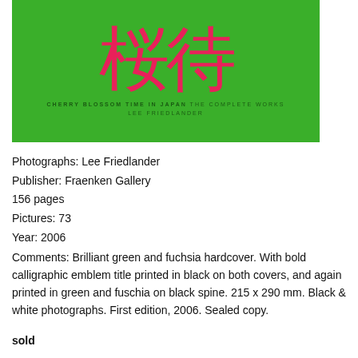[Figure (photo): Book cover with bright green background, large pink/fuchsia kanji characters, and small text reading CHERRY BLOSSOM TIME IN JAPAN THE COMPLETE WORKS / LEE FRIEDLANDER]
Photographs: Lee Friedlander
Publisher: Fraenken Gallery
156 pages
Pictures: 73
Year: 2006
Comments: Brilliant green and fuchsia hardcover. With bold calligraphic emblem title printed in black on both covers, and again printed in green and fuschia on black spine. 215 x 290 mm. Black & white photographs. First edition, 2006. Sealed copy.
sold